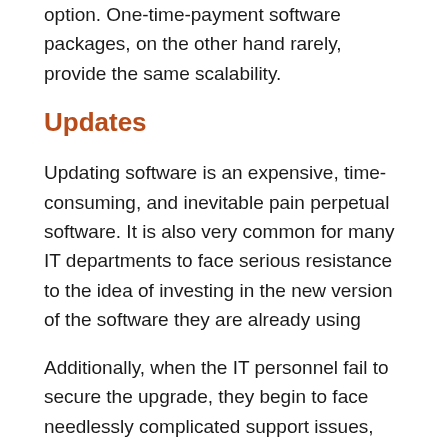option. One-time-payment software packages, on the other hand rarely, provide the same scalability.
Updates
Updating software is an expensive, time-consuming, and inevitable pain perpetual software. It is also very common for many IT departments to face serious resistance to the idea of investing in the new version of the software they are already using
Additionally, when the IT personnel fail to secure the upgrade, they begin to face needlessly complicated support issues, especially if the vendor has stopped providing support for older versions. Subscription-based software, however, is always up to date. Automatic